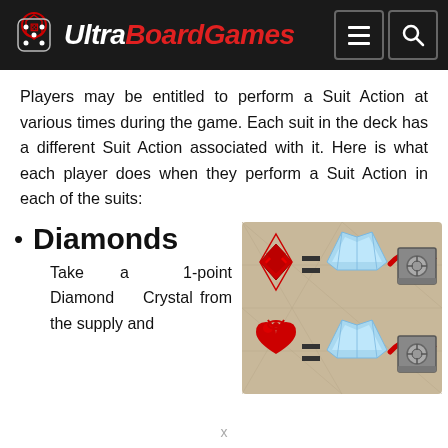UltraBoardGames
Players may be entitled to perform a Suit Action at various times during the game. Each suit in the deck has a different Suit Action associated with it. Here is what each player does when they perform a Suit Action in each of the suits:
Diamonds
Take a 1-point Diamond Crystal from the supply and
[Figure (illustration): Game illustration showing diamond and heart suit symbols with equals signs and arrows pointing to crystal and vault images]
x